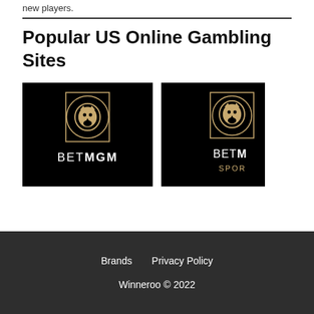new players.
Popular US Online Gambling Sites
[Figure (logo): BetMGM logo on black background — lion head icon above text BETMGM in white]
[Figure (logo): BetMGM Sports logo on black background — lion head icon above partially visible text BETM and SPOR]
Brands   Privacy Policy
Winneroo © 2022